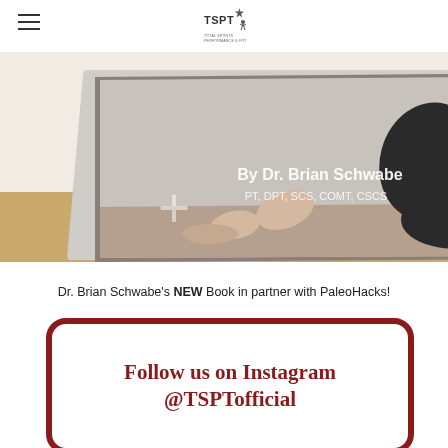TSPT logo and hamburger menu
[Figure (photo): Book cover showing a person kneeling on a floor in an exercise pose. Text on book reads 'By Dr. Brian Schwabe PT, DPT, SCS, COMT, CSCS'. Book has a teal spine and is displayed at an angle.]
Dr. Brian Schwabe's NEW Book in partner with PaleoHacks!
[Figure (infographic): Rounded rectangle bordered in dark red with text: Follow us on Instagram @TSPTofficial]